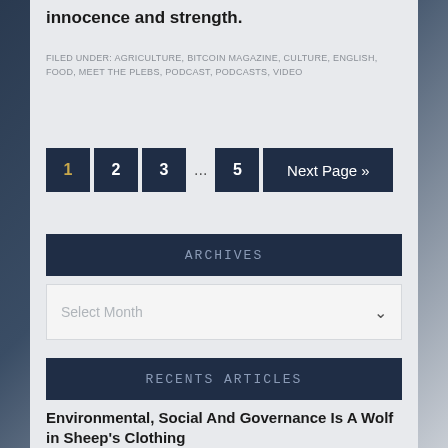innocence and strength.
FILED UNDER: AGRICULTURE, BITCOIN MAGAZINE, CULTURE, ENGLISH, FOOD, MEET THE PLEBS, PODCAST, PODCASTS, VIDEO
1 2 3 ... 5 Next Page »
ARCHIVES
Select Month
RECENTS ARTICLES
Environmental, Social And Governance Is A Wolf in Sheep's Clothing